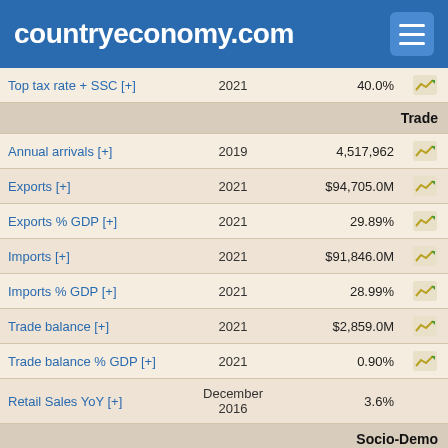countryeconomy.com
| Indicator | Year | Value |  |
| --- | --- | --- | --- |
| Top tax rate + SSC [+] | 2021 | 40.0% | chart |
| SECTION: Trade |  |  |  |
| Annual arrivals [+] | 2019 | 4,517,962 | chart |
| Exports [+] | 2021 | $94,705.0M | chart |
| Exports % GDP [+] | 2021 | 29.89% | chart |
| Imports [+] | 2021 | $91,846.0M | chart |
| Imports % GDP [+] | 2021 | 28.99% | chart |
| Trade balance [+] | 2021 | $2,859.0M | chart |
| Trade balance % GDP [+] | 2021 | 0.90% | chart |
| Retail Sales YoY [+] | December 2016 | 3.6% |  |
| SECTION: Socio-Demo |  |  |  |
| Global AgeWatch Ranking [+] | 2015 | 21° |  |
| Density [+] | 2021 | 25 | chart |
| Global Peace Ranking [+] | 2022 | 55° |  |
| Remittance received ($M) [+] | 2017 | 104.2 |  |